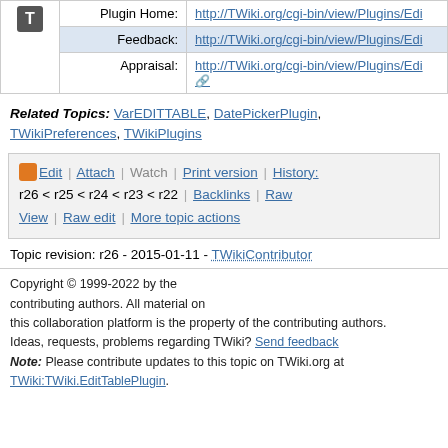|  | Label | Value |
| --- | --- | --- |
| T icon | Plugin Home: | http://TWiki.org/cgi-bin/view/Plugins/Edi... |
|  | Feedback: | http://TWiki.org/cgi-bin/view/Plugins/Edi... |
|  | Appraisal: | http://TWiki.org/cgi-bin/view/Plugins/Edi... [external link icon] |
Related Topics: VarEDITTABLE, DatePickerPlugin, TWikiPreferences, TWikiPlugins
Edit | Attach | Watch | Print version | History: r26 < r25 < r24 < r23 < r22 | Backlinks | Raw View | Raw edit | More topic actions
Topic revision: r26 - 2015-01-11 - TWikiContributor
Copyright © 1999-2022 by the contributing authors. All material on this collaboration platform is the property of the contributing authors. Ideas, requests, problems regarding TWiki? Send feedback Note: Please contribute updates to this topic on TWiki.org at TWiki:TWiki.EditTablePlugin.